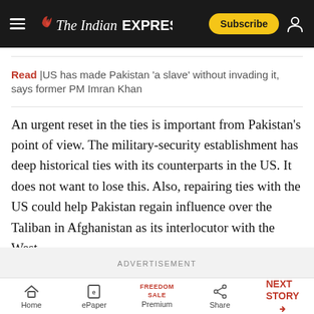The Indian Express — Subscribe
Read |US has made Pakistan 'a slave' without invading it, says former PM Imran Khan
An urgent reset in the ties is important from Pakistan's point of view. The military-security establishment has deep historical ties with its counterparts in the US. It does not want to lose this. Also, repairing ties with the US could help Pakistan regain influence over the Taliban in Afghanistan as its interlocutor with the West.
ADVERTISEMENT
Home | ePaper | Premium | Share | NEXT STORY